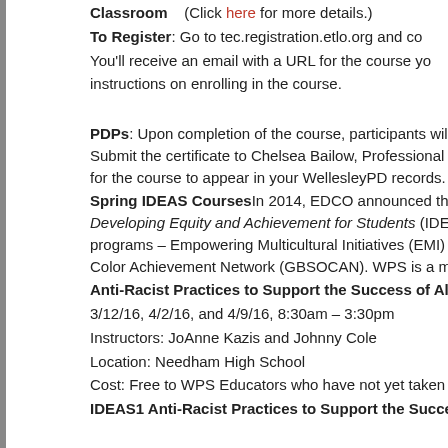Classroom    (Click here for more details.)
To Register: Go to tec.registration.etlo.org and co...
You'll receive an email with a URL for the course yo...
instructions on enrolling in the course.
PDPs: Upon completion of the course, participants will r... Submit the certificate to Chelsea Bailow, Professional D... for the course to appear in your WellesleyPD records.
Spring IDEAS CoursesIn 2014, EDCO announced the Developing Equity and Achievement for Students (IDEA programs – Empowering Multicultural Initiatives (EMI) a... Color Achievement Network (GBSOCAN). WPS is a me...
Anti-Racist Practices to Support the Success of All S...
3/12/16, 4/2/16, and 4/9/16, 8:30am – 3:30pm
Instructors: JoAnne Kazis and Johnny Cole
Location: Needham High School
Cost: Free to WPS Educators who have not yet taken E...
IDEAS1 Anti-Racist Practices to Support the Succes...